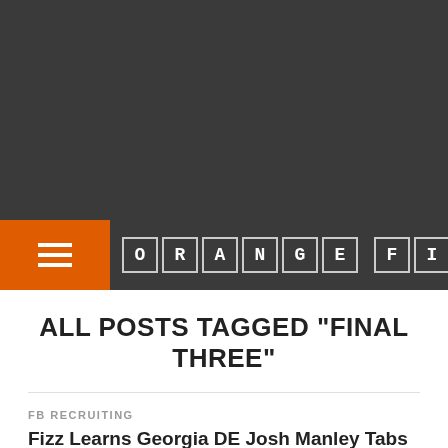[Figure (screenshot): Dark gray top banner area of a website]
ORANGE FIZZ
ALL POSTS TAGGED "FINAL THREE"
FB RECRUITING
Fizz Learns Georgia DE Josh Manley Tabs SU in Final 3, with Purdue & NC State
At 250 lbs. Manley would already be one of SU's heaviest ends.